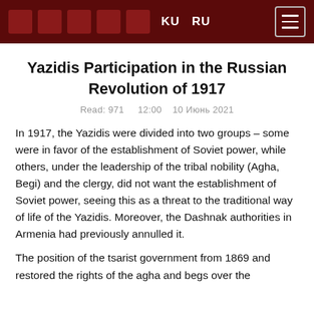KU  RU
Yazidis Participation in the Russian Revolution of 1917
Read: 971    12:00    10 Июнь 2021
In 1917, the Yazidis were divided into two groups – some were in favor of the establishment of Soviet power, while others, under the leadership of the tribal nobility (Agha, Begi) and the clergy, did not want the establishment of Soviet power, seeing this as a threat to the traditional way of life of the Yazidis. Moreover, the Dashnak authorities in Armenia had previously annulled it.
The position of the tsarist government from 1869 and restored the rights of the agha and begs over the